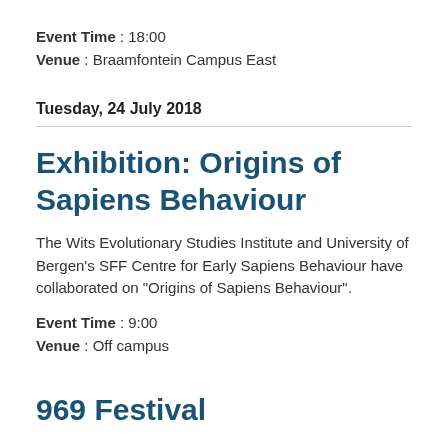Event Time : 18:00
Venue : Braamfontein Campus East
Tuesday, 24 July 2018
Exhibition: Origins of Sapiens Behaviour
The Wits Evolutionary Studies Institute and University of Bergen's SFF Centre for Early Sapiens Behaviour have collaborated on "Origins of Sapiens Behaviour".
Event Time : 9:00
Venue : Off campus
969 Festival